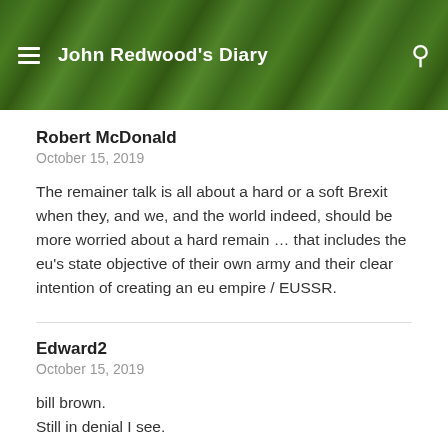John Redwood's Diary
Robert McDonald
October 15, 2019
The remainer talk is all about a hard or a soft Brexit when they, and we, and the world indeed, should be more worried about a hard remain … that includes the eu's state objective of their own army and their clear intention of creating an eu empire / EUSSR.
Edward2
October 15, 2019
bill brown.
Still in denial I see.